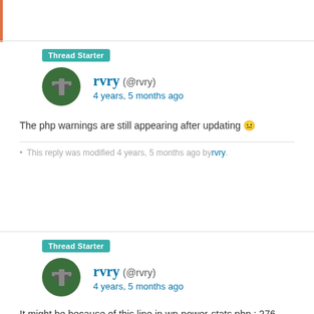Thread Starter
rvry (@rvry)
4 years, 5 months ago
The php warnings are still appearing after updating 😐
This reply was modified 4 years, 5 months ago by rvry.
Thread Starter
rvry (@rvry)
4 years, 5 months ago
It might be because of this line in wp-power-stats.php : 276
It's checking if $data['search_engine'] is an array and if it is then